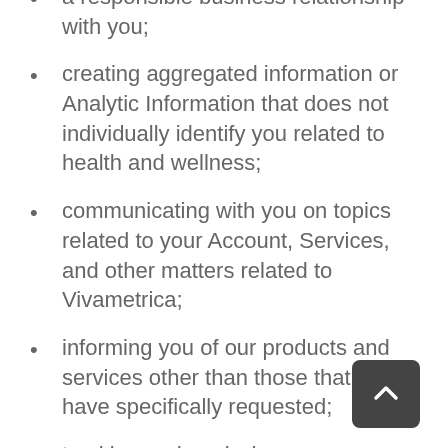a responsible business relationship with you;
creating aggregated information or Analytic Information that does not individually identify you related to health and wellness;
communicating with you on topics related to your Account, Services, and other matters related to Vivametrica;
informing you of our products and services other than those that you have specifically requested;
tracking and analyzing